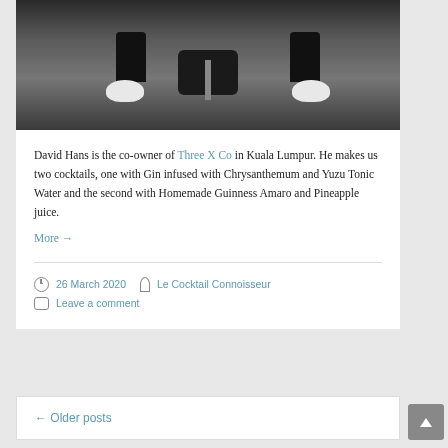[Figure (photo): A person sitting on a black chair on a dark carpet, wearing black pants and white sneakers, viewed from above]
David Hans is the co-owner of Three X Co in Kuala Lumpur. He makes us two cocktails, one with Gin infused with Chrysanthemum and Yuzu Tonic Water and the second with Homemade Guinness Amaro and Pineapple juice.
More →
26 March 2020   Le Cocktail Connoisseur   Leave a comment
← Older posts